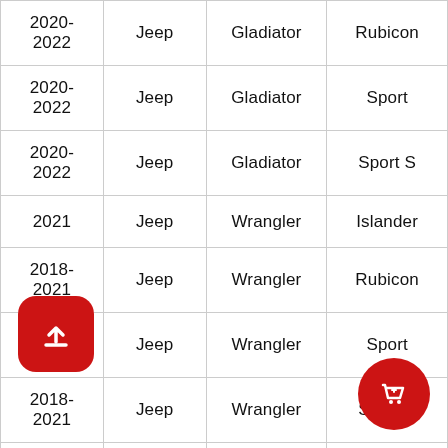| Year | Make | Model | Trim |
| --- | --- | --- | --- |
| 2020-2022 | Jeep | Gladiator | Rubicon |
| 2020-2022 | Jeep | Gladiator | Sport |
| 2020-2022 | Jeep | Gladiator | Sport S |
| 2021 | Jeep | Wrangler | Islander |
| 2018-2021 | Jeep | Wrangler | Rubicon |
| 2018-2021 | Jeep | Wrangler | Sport |
| 2018-2021 | Jeep | Wrangler | Sport S |
| 2018-... | Jeep | Wrangler | Unlimited... |